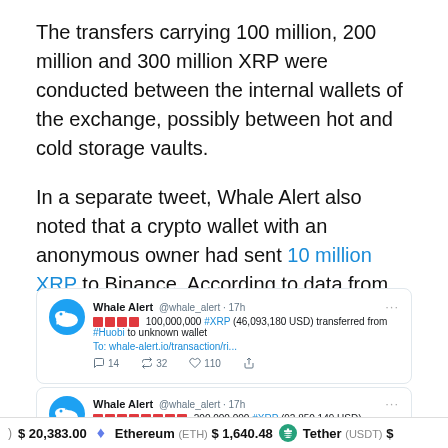The transfers carrying 100 million, 200 million and 300 million XRP were conducted between the internal wallets of the exchange, possibly between hot and cold storage vaults.
In a separate tweet, Whale Alert also noted that a crypto wallet with an anonymous owner had sent 10 million XRP to Binance. According to data from Bythomp analytics provider, the sender was Coinbase exchange.
[Figure (screenshot): Whale Alert tweet screenshot showing: 100,000,000 #XRP (46,093,180 USD) transferred from #Huobi to unknown wallet. Link: whale-alert.io/transaction/ri... Engagement: 14 replies, 32 retweets, 110 likes.]
[Figure (screenshot): Whale Alert tweet screenshot (partial) showing: 200,000,000 #XRP (92,850,149 USD)]
$ 20,383.00   Ethereum (ETH) $ 1,640.48   Tether (USDT) $